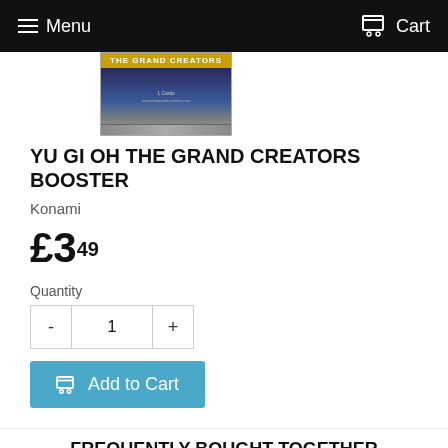Menu   Cart
[Figure (photo): Yu-Gi-Oh The Grand Creators booster pack product image with yellow banner text]
YU GI OH THE GRAND CREATORS BOOSTER
Konami
£3.49
Quantity
- 1 +
Add to Cart
FREQUENTLY BOUGHT TOGETHER